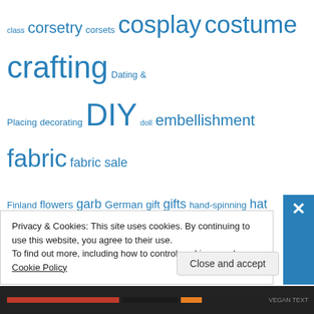[Figure (other): Tag cloud with craft/sewing related tags in various sizes in blue color. Tags include: class, corsetry, corsets, cosplay, costume, crafting, Dating & Placing, decorating, DIY, doll, embellishment, fabric, fabric sale, Finland, flowers, garb, German, gift, gifts, hand-spinning, hat, Historical Sew Fortnightly, Historical Sew Monthly, Holiday gifts, how-to, HSF, HSM, Iceland, inspiration, ipsy, Italian, jewellery, Largesse, linen, make up, millinery, Museum, naalbinding, natural dyes, Nålbinding, octopus, painting, pattern drafting, patterns, planning, purse, Quilting, review, Royal Alberta Museum, SCA]
Privacy & Cookies: This site uses cookies. By continuing to use this website, you agree to their use.
To find out more, including how to control cookies, see here: Cookie Policy
Close and accept